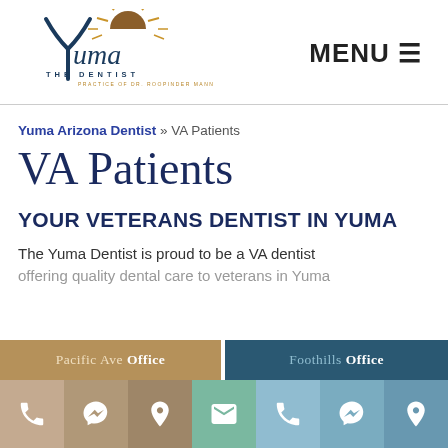[Figure (logo): Yuma The Dentist logo with stylized Y and sun graphic, Practice of Dr. Roopinder Mann]
MENU ≡
Yuma Arizona Dentist » VA Patients
VA Patients
YOUR VETERANS DENTIST IN YUMA
The Yuma Dentist is proud to be a VA dentist offering quality dental care to veterans in Yuma
Pacific Ave Office
Foothills Office